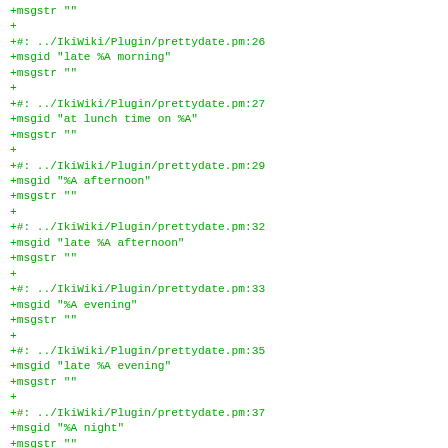+msgstr ""
+
+#: ../IkiWiki/Plugin/prettydate.pm:26
+msgid "late %A morning"
+msgstr ""
+
+#: ../IkiWiki/Plugin/prettydate.pm:27
+msgid "at lunch time on %A"
+msgstr ""
+
+#: ../IkiWiki/Plugin/prettydate.pm:29
+msgid "%A afternoon"
+msgstr ""
+
+#: ../IkiWiki/Plugin/prettydate.pm:32
+msgid "late %A afternoon"
+msgstr ""
+
+#: ../IkiWiki/Plugin/prettydate.pm:33
+msgid "%A evening"
+msgstr ""
+
+#: ../IkiWiki/Plugin/prettydate.pm:35
+msgid "late %A evening"
+msgstr ""
+
+#: ../IkiWiki/Plugin/prettydate.pm:37
+msgid "%A night"
+msgstr ""
+
+#: ../IkiWiki/Plugin/prettydate.pm:74
+msgid "at teatime on %A"